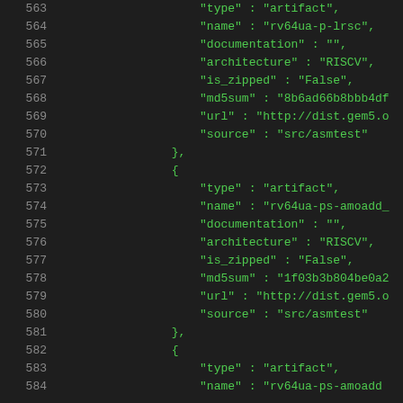Code listing lines 563–584 showing JSON artifact entries for rv64ua-p-lrsc and rv64ua-ps-amoadd resources with type, name, documentation, architecture, is_zipped, md5sum, url, and source fields.